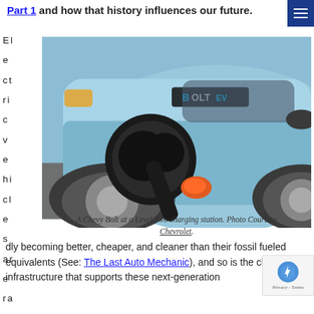Part 1 and how that history influences our future.
[Figure (photo): A Chevy Bolt EV electric vehicle at a Level Two charging station, showing a charging plug inserted into the charging port of a light blue Chevy Bolt EV.]
A Chevy Bolt at a Level Two charging station. Photo Courtesy Chevrolet.
Electric vehicles are rapidly becoming better, cheaper, and cleaner than their fossil fueled equivalents (See: The Last Auto Mechanic), and so is the charging infrastructure that supports these next-generation vehicles.